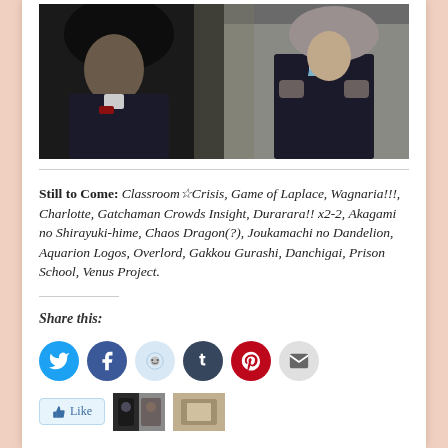[Figure (photo): Anime screenshot showing two characters — one with dark long hair on the left and one in a dark suit with crossed arms on the right, in a moody dark setting]
Still to Come: Classroom☆Crisis, Game of Laplace, Wagnaria!!!, Charlotte, Gatchaman Crowds Insight, Durarara!! x2-2, Akagami no Shirayuki-hime, Chaos Dragon(?), Joukamachi no Dandelion, Aquarion Logos, Overlord, Gakkou Gurashi, Danchigai, Prison School, Venus Project.
Share this:
[Figure (infographic): Row of social share buttons: Twitter (blue), Facebook (blue), Reddit (light blue), Tumblr (dark navy), Pinterest (red), Email (gray)]
[Figure (photo): Bottom strip with Like button and two small thumbnail images]